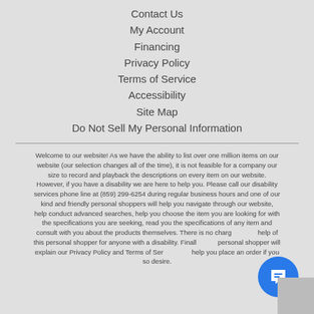Contact Us
My Account
Financing
Privacy Policy
Terms of Service
Accessibility
Site Map
Do Not Sell My Personal Information
Welcome to our website! As we have the ability to list over one million items on our website (our selection changes all of the time), it is not feasible for a company our size to record and playback the descriptions on every item on our website. However, if you have a disability we are here to help you. Please call our disability services phone line at (859) 299-6254 during regular business hours and one of our kind and friendly personal shoppers will help you navigate through our website, help conduct advanced searches, help you choose the item you are looking for with the specifications you are seeking, read you the specifications of any item and consult with you about the products themselves. There is no charge for the help of this personal shopper for anyone with a disability. Finally, your personal shopper will explain our Privacy Policy and Terms of Service, and help you place an order if you so desire.